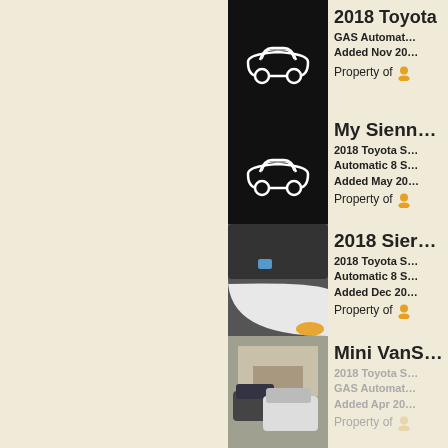[Figure (screenshot): App listing UI showing vehicle cards. Card 1 (partial top): black placeholder image with white car icon, title cut off, '2018 Toyota S... GAS Automat... Added Nov 20...' Property of [user icon]. Card 2: black placeholder image with white car icon, title 'My Sienn...', '2018 Toyota S... Automatic 8 S... Added May 20...' Property of [user icon]. Card 3: photo of white Toyota Sienna van windshield/hood area, title '2018 Sier...', '2018 Toyota S... Automatic 8 S... Added Dec 20...' Property of [user icon]. Card 4 (partial bottom): photo of parked vehicles in driveway, title 'Mini VanS...', '2018 Toyota S... GAS Automat... Added Apr 20...' (faded/greyed out).]